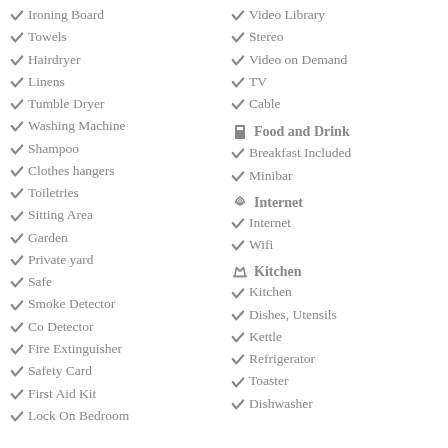Ironing Board
Towels
Hairdryer
Linens
Tumble Dryer
Washing Machine
Shampoo
Clothes hangers
Toiletries
Sitting Area
Garden
Private yard
Safe
Smoke Detector
Co Detector
Fire Extinguisher
Safety Card
First Aid Kit
Lock On Bedroom
Video Library
Stereo
Video on Demand
TV
Cable
Food and Drink
Breakfast Included
Minibar
Internet
Internet
Wifi
Kitchen
Kitchen
Dishes, Utensils
Kettle
Refrigerator
Toaster
Dishwasher